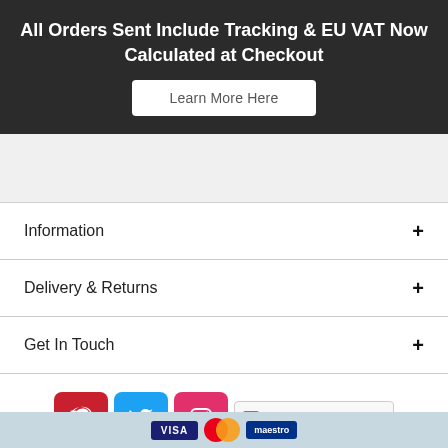All Orders Sent Include Tracking & EU VAT Now Calculated at Checkout
Learn More Here
Information
Delivery & Returns
Get In Touch
[Figure (infographic): Social media icons for Pinterest, Twitter, Instagram, plus a Share button with Facebook, Twitter, and email icons]